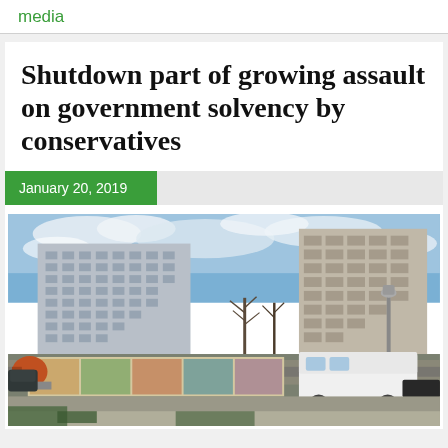media
Shutdown part of growing assault on government solvency by conservatives
January 20, 2019
[Figure (photo): Outdoor urban scene showing government office buildings in Washington D.C. with a street food truck, construction equipment, and decorative murals in the foreground under a partly cloudy sky.]